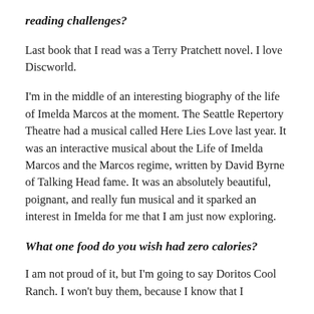reading challenges?
Last book that I read was a Terry Pratchett novel. I love Discworld.
I'm in the middle of an interesting biography of the life of Imelda Marcos at the moment. The Seattle Repertory Theatre had a musical called Here Lies Love last year. It was an interactive musical about the Life of Imelda Marcos and the Marcos regime, written by David Byrne of Talking Head fame. It was an absolutely beautiful, poignant, and really fun musical and it sparked an interest in Imelda for me that I am just now exploring.
What one food do you wish had zero calories?
I am not proud of it, but I'm going to say Doritos Cool Ranch. I won't buy them, because I know that I